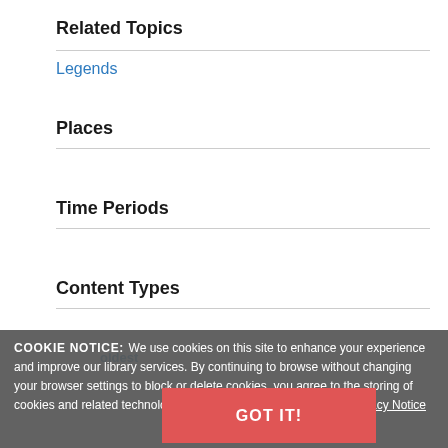Related Topics
Legends
Places
Time Periods
Content Types
COOKIE NOTICE: We use cookies on this site to enhance your experience and improve our library services. By continuing to browse without changing your browser settings to block or delete cookies, you agree to the storing of cookies and related technologies on your device. UW-Madison Privacy Notice
1 result sorted by Year - Newest to oldest
GOT IT!
PLACES
LANGUAGES